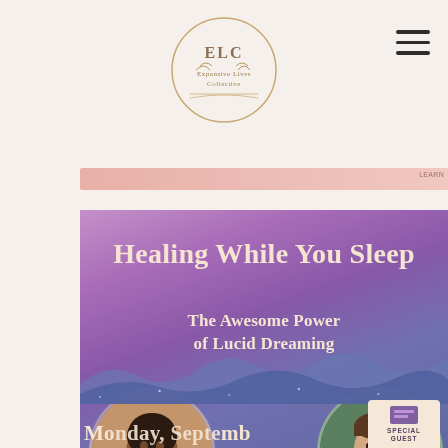[Figure (logo): ELC Expansive Lives Collective circular logo with botanical decorative elements]
[Figure (infographic): Event promotional banner for 'Healing While You Sleep: The Awesome Power of Lucid Dreaming' featuring speakers Tracee Stanley and Charlie Morley, with purple gradient background, circular speaker photos, mountain waves decoration, and Special Guest badge. Partial date text visible at bottom reading 'Monday, September 19'.]